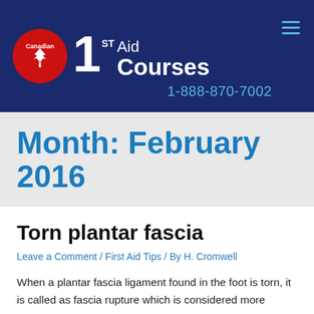[Figure (logo): Canadian 1st Aid Courses logo with red maple leaf circle and white text on dark navy background, phone number 1-888-870-7002]
Month: February 2016
Torn plantar fascia
Leave a Comment / First Aid Tips / By H. Cromwell
When a plantar fascia ligament found in the foot is torn, it is called as fascia rupture which is considered more serious than plantar fasciitis which causes small tears on the tissues. The plantar fascia is a thick, connective and fibrous tissue band extending along the